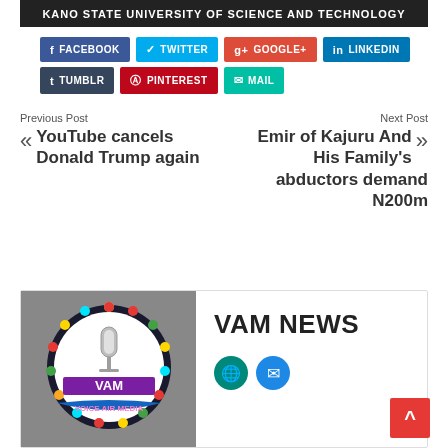KANO STATE UNIVERSITY OF SCIENCE AND TECHNOLOGY
f FACEBOOK
TWITTER
g+ GOOGLE+
in LINKEDIN
t TUMBLR
p PINTEREST
MAIL
Previous Post
« YouTube cancels Donald Trump again
Next Post
Emir of Kajuru And His Family's abductors demand N200m »
[Figure (logo): VAM News (Voice Air Media) logo: circular badge with colorful lights border, microphone in center, 'VAM' text on purple band, 'VOICE AIR MEDIA' on blue ribbon below, on grey background]
VAM NEWS